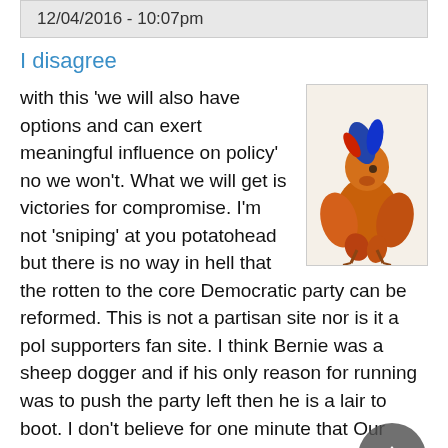12/04/2016 - 10:07pm
I disagree
[Figure (illustration): Colorful illustrated bird or costume figure with orange, blue and red plumage or feathers]
with this 'we will also have options and can exert meaningful influence on policy' no we won't. What we will get is victories for compromise. I'm not 'sniping' at you potatohead but there is no way in hell that the rotten to the core Democratic party can be reformed. This is not a partisan site nor is it a pol supporters fan site. I think Bernie was a sheep dogger and if his only reason for running was to push the party left then he is a lair to boot. I don't believe for one minute that Our Revolution or any org. that runs Democratic candidates is anything but